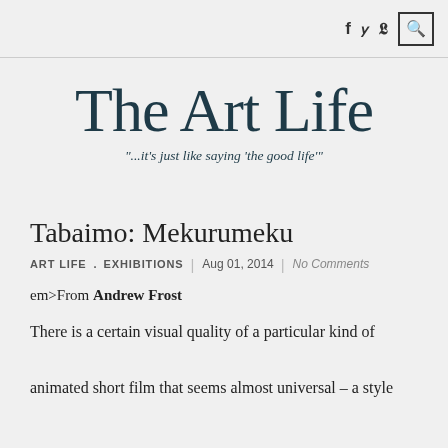f  y  [search icon]
The Art Life
"...it's just like saying 'the good life'"
Tabaimo: Mekurumeku
ART LIFE . EXHIBITIONS | Aug 01, 2014 | No Comments
em>From Andrew Frost
There is a certain visual quality of a particular kind of animated short film that seems almost universal – a style